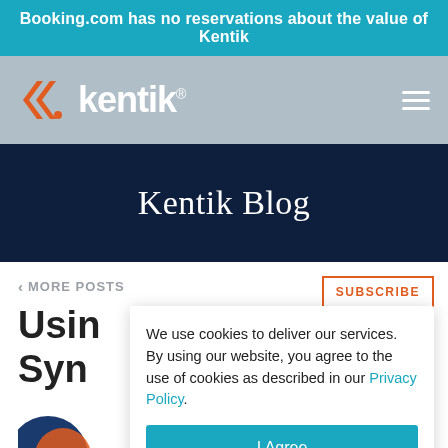Booking.com has no reservations about the value of Kentik
[Figure (logo): Kentik logo with orange double-chevron icon and white text on gray navigation bar]
Kentik Blog
< MORE POSTS
SUBSCRIBE
Usin Syn
We use cookies to deliver our services. By using our website, you agree to the use of cookies as described in our Privacy Policy.
I Agree